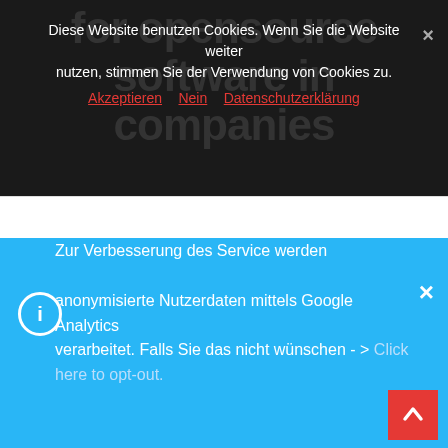for opensource software in companies
Diese Website benutzen Cookies. Wenn Sie die Website weiter nutzen, stimmen Sie der Verwendung von Cookies zu.
Akzeptieren   Nein   Datenschutzerklärung
By Daniel
MAY 3, 2022   Linux, opensource
[Figure (illustration): Red geometric shapes forming an abstract illustration, possibly a logo with red diamond/rhombus shapes on a white background]
Zur Verbesserung des Service werden anonymisierte Nutzerdaten mittels Google Analytics verarbeitet. Falls Sie das nicht wünschen - > Click here to opt-out.